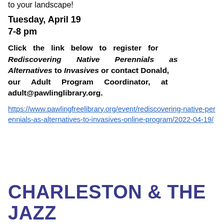to your landscape!
Tuesday, April 19
7-8 pm
Click the link below to register for Rediscovering Native Perennials as Alternatives to Invasives or contact Donald, our Adult Program Coordinator, at adult@pawlinglibrary.org.
https://www.pawlingfreelibrary.org/event/rediscovering-native-perennials-as-alternatives-to-invasives-online-program/2022-04-19/
CHARLESTON & THE JAZZ